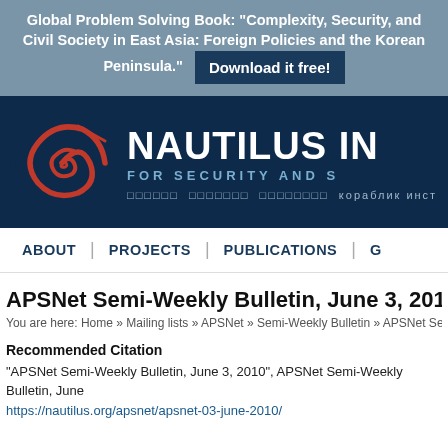Global Problem Solving Book: "Complexity, Security, and Civil Society in East Asia: Foreign Policies and the Korean Peninsula." Download it free!
[Figure (logo): Nautilus Institute logo: red spiral nautilus shell on dark navy background, with text 'NAUTILUS IN[STITUTE]' and 'FOR SECURITY AND S[USTAINABILITY]' and language links including Russian 'кораблик институт']
ABOUT | PROJECTS | PUBLICATIONS | G
APSNet Semi-Weekly Bulletin, June 3, 201[0]
You are here: Home » Mailing lists » APSNet » Semi-Weekly Bulletin » APSNet Ser
Recommended Citation
"APSNet Semi-Weekly Bulletin, June 3, 2010", APSNet Semi-Weekly Bulletin, June [3, 2010],
https://nautilus.org/apsnet/apsnet-03-june-2010/